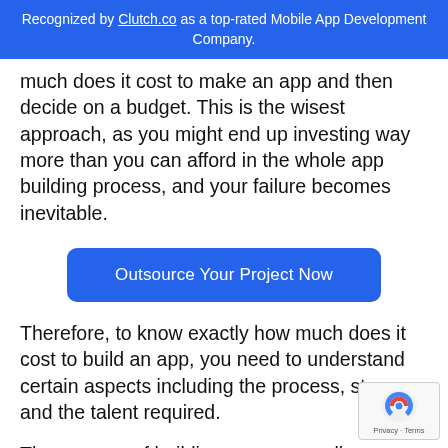Recognized by Clutch.co as a top-rated Mobile App Development Company.
much does it cost to make an app and then decide on a budget. This is the wisest approach, as you might end up investing way more than you can afford in the whole app building process, and your failure becomes inevitable.
[Figure (other): Blue CTA button labeled 'Outsource Your Project Now']
Therefore, to know exactly how much does it cost to build an app, you need to understand certain aspects including the process, steps and the talent required.
The process of building an app usually comprises several steps the number of which may vary with the type of app being developed. Each of these